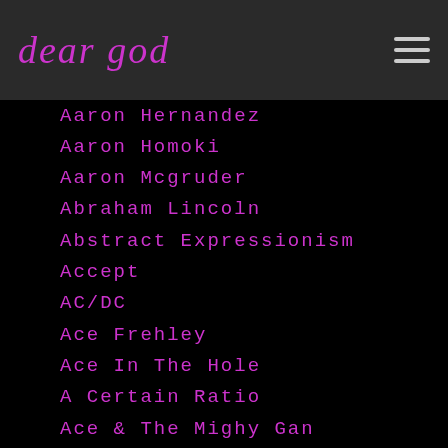dear god
Aaron Hernandez
Aaron Homoki
Aaron Mcgruder
Abraham Lincoln
Abstract Expressionism
Accept
AC/DC
Ace Frehley
Ace In The Hole
A Certain Ratio
Ace & The Mighy Gan
Acid Bath
Acid Dad
Across The River
Actors Studio
Adam Jones
Adam Yauch